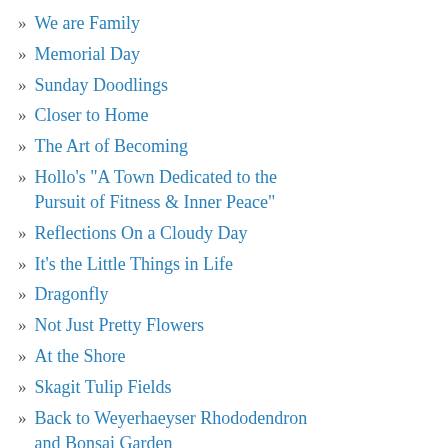We are Family
Memorial Day
Sunday Doodlings
Closer to Home
The Art of Becoming
Hollo's "A Town Dedicated to the Pursuit of Fitness & Inner Peace"
Reflections On a Cloudy Day
It's the Little Things in Life
Dragonfly
Not Just Pretty Flowers
At the Shore
Skagit Tulip Fields
Back to Weyerhaeyser Rhododendron and Bonsai Garden
A Bowl of Sunlight